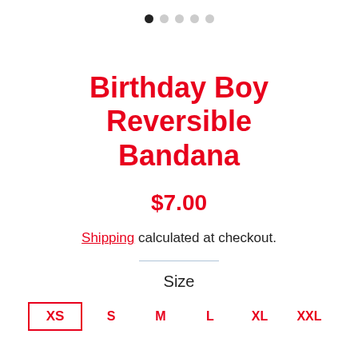[Figure (other): Carousel dot indicators: 5 dots, first one filled black, others light grey]
Birthday Boy Reversible Bandana
$7.00
Shipping calculated at checkout.
Size
XS  S  M  L  XL  XXL